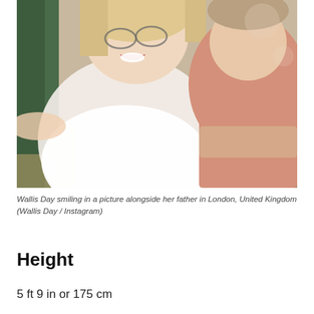[Figure (photo): Two people posing together in a selfie-style photo. A woman in a white fitted top with glasses and blonde hair smiles at the camera, alongside a man in a pink shirt wearing a watch, in London, United Kingdom.]
Wallis Day smiling in a picture alongside her father in London, United Kingdom (Wallis Day / Instagram)
Height
5 ft 9 in or 175 cm